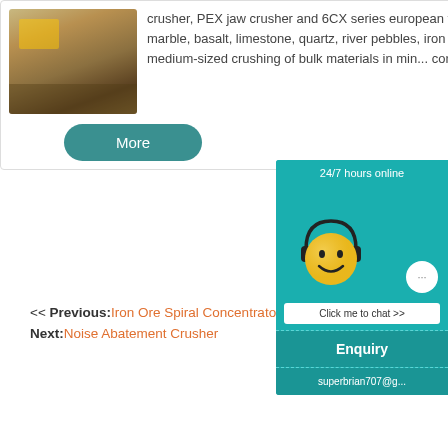[Figure (photo): Construction/mining site with heavy machinery and rocky terrain]
crusher, PEX jaw crusher and 6CX series european type jaw crusher Processed Materials: Granite, marble, basalt, limestone, quartz, river pebbles, iron ore, copper ore, etc. Application: Widely used for medium-sized crushing of bulk materials in mining, construction, road, ra...
More
<< Previous: Iron Ore Spiral Concentrator Sp...
Next: Noise Abatement Crusher
[Figure (infographic): 24/7 hours online chat widget with smiley face wearing headset, chat bubble, and Click me to chat button]
Enquiry
superbrian707@g...